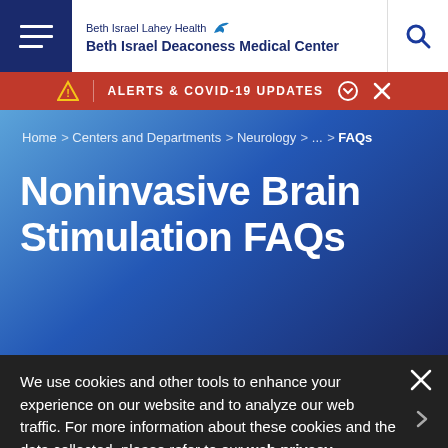Beth Israel Lahey Health Beth Israel Deaconess Medical Center
ALERTS & COVID-19 UPDATES
Home > Centers and Departments > Neurology > ... > FAQs
Noninvasive Brain Stimulation FAQs
We use cookies and other tools to enhance your experience on our website and to analyze our web traffic. For more information about these cookies and the data collected, please refer to our web privacy statement.